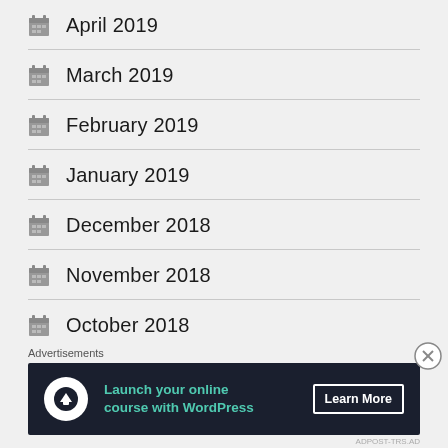April 2019
March 2019
February 2019
January 2019
December 2018
November 2018
October 2018
September 2018
[Figure (infographic): Advertisement banner: Launch your online course with WordPress, Learn More button, dark navy background with teal text]
Advertisements